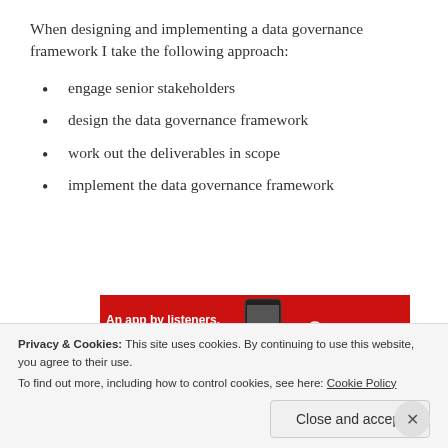When designing and implementing a data governance framework I take the following approach:
engage senior stakeholders
design the data governance framework
work out the deliverables in scope
implement the data governance framework
[Figure (other): Advertisement banner for Pocket Casts app: red background with text 'An app by listeners, for listeners.' and Pocket Casts logo with phone image]
The third stage is when you would consider whether
Privacy & Cookies: This site uses cookies. By continuing to use this website, you agree to their use.
To find out more, including how to control cookies, see here: Cookie Policy
Close and accept